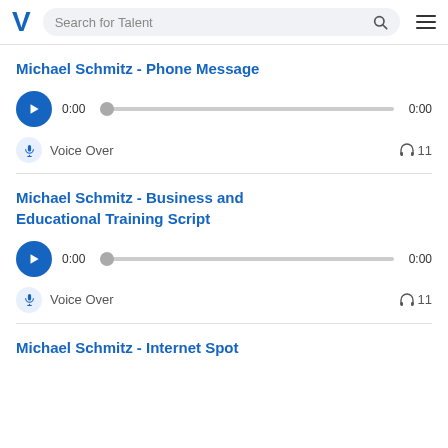Search for Talent
Michael Schmitz - Phone Message
0:00  0:00
Voice Over  11
Michael Schmitz - Business and Educational Training Script
0:00  0:00
Voice Over  11
Michael Schmitz - Internet Spot